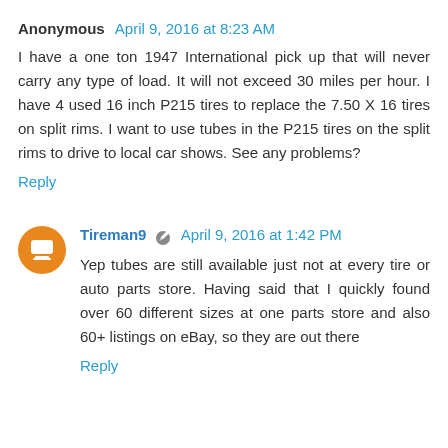Anonymous  April 9, 2016 at 8:23 AM
I have a one ton 1947 International pick up that will never carry any type of load. It will not exceed 30 miles per hour. I have 4 used 16 inch P215 tires to replace the 7.50 X 16 tires on split rims. I want to use tubes in the P215 tires on the split rims to drive to local car shows. See any problems?
Reply
Tireman9  April 9, 2016 at 1:42 PM
Yep tubes are still available just not at every tire or auto parts store. Having said that I quickly found over 60 different sizes at one parts store and also 60+ listings on eBay, so they are out there
Reply